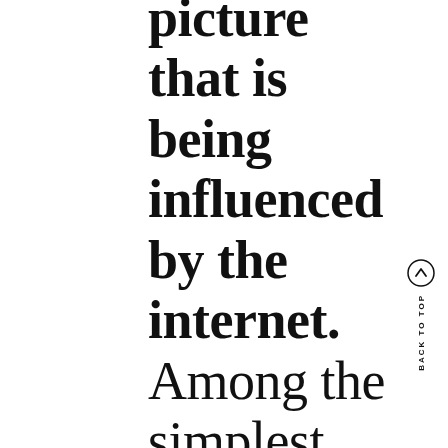picture that is being influenced by the internet. Among the simplest strategies
[Figure (other): Back to top navigation arrow button with circular border and vertical 'BACK TO TOP' label]